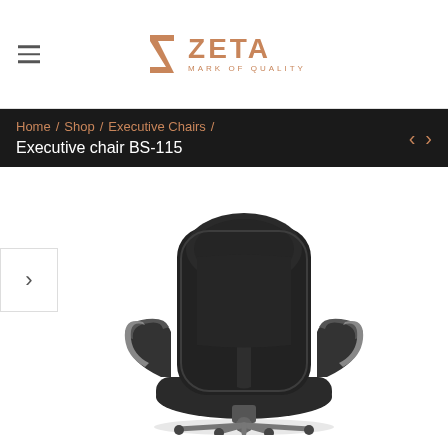≡  ZETA MARK OF QUALITY
Home / Shop / Executive Chairs /
Executive chair BS-115
[Figure (photo): Black leather high-back executive office chair (model BS-115) with padded armrests and metallic base, shown in a three-quarter front view on a white background.]